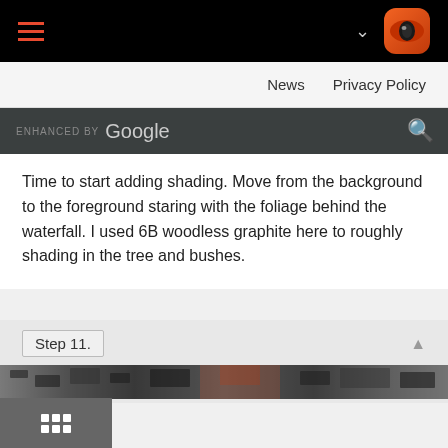Navigation header with hamburger menu, chevron, and logo
News   Privacy Policy
ENHANCED BY Google [search icon]
Time to start adding shading. Move from the background to the foreground staring with the foliage behind the waterfall. I used 6B woodless graphite here to roughly shading in the tree and bushes.
Step 11.
[Figure (photo): Black and white photo of foliage/trees, appears to be a cropped top portion of a drawing or photograph showing dark textured vegetation against a light sky.]